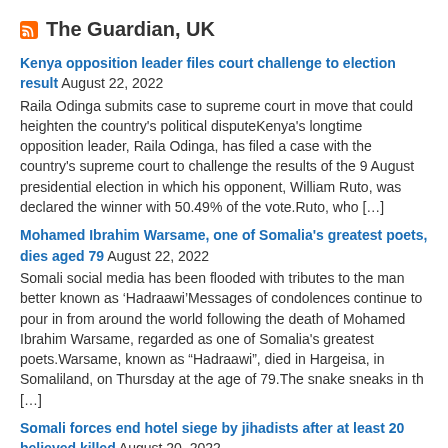The Guardian, UK
Kenya opposition leader files court challenge to election result August 22, 2022
Raila Odinga submits case to supreme court in move that could heighten the country’s political disputeKenya’s longtime opposition leader, Raila Odinga, has filed a case with the country's supreme court to challenge the results of the 9 August presidential election in which his opponent, William Ruto, was declared the winner with 50.49% of the vote.Ruto, who […]
Mohamed Ibrahim Warsame, one of Somalia’s greatest poets, dies aged 79 August 22, 2022
Somali social media has been flooded with tributes to the man better known as ‘Hadraawi’Messages of condolences continue to pour in from around the world following the death of Mohamed Ibrahim Warsame, regarded as one of Somalia’s greatest poets.Warsame, known as “Hadraawi”, died in Hargeisa, in Somaliland, on Thursday at the age of 79.The snake sneaks in th […]
Somali forces end hotel siege by jihadists after at least 20 believed killed August 20, 2022